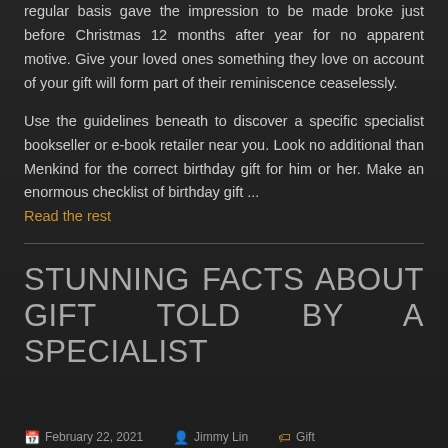regular basis gave the impression to be made broke just before Christmas 12 months after year for no apparent motive. Give your loved ones something they love on account of your gift will form part of their reminiscence ceaselessly.
Use the guidelines beneath to discover a specific specialist bookseller or e-book retailer near you. Look no additional than Menkind for the correct birthday gift for him or her. Make an enormous checklist of birthday gift ...
Read the rest
STUNNING FACTS ABOUT GIFT TOLD BY A SPECIALIST
February 22, 2021  Jimmy Lin  Gift